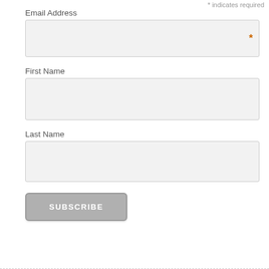* indicates required
Email Address
First Name
Last Name
SUBSCRIBE